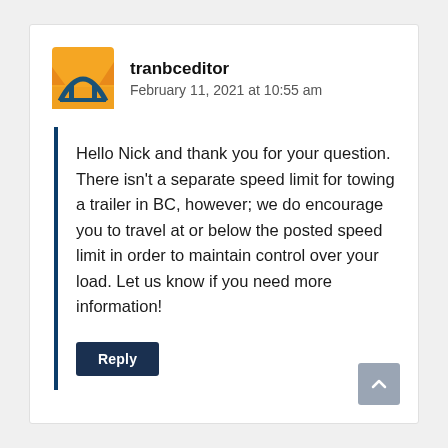[Figure (logo): tranbceditor avatar: orange and yellow background with blue road/bridge icon]
tranbceditor
February 11, 2021 at 10:55 am
Hello Nick and thank you for your question. There isn't a separate speed limit for towing a trailer in BC, however; we do encourage you to travel at or below the posted speed limit in order to maintain control over your load. Let us know if you need more information!
Reply